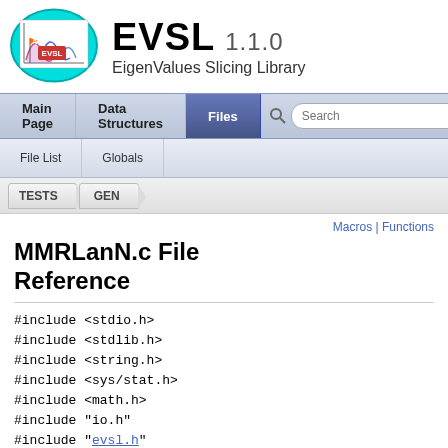[Figure (logo): EVSL logo in a cyan oval with a graph showing eigenvalue slices]
EVSL 1.1.0 EigenValues Slicing Library
Main Page | Data Structures | Files | Search
File List | Globals
TESTS > GEN
Macros | Functions
MMRLanN.c File Reference
#include <stdio.h>
#include <stdlib.h>
#include <string.h>
#include <sys/stat.h>
#include <math.h>
#include "io.h"
#include "evsl.h"
#include "evsl_direct.h"